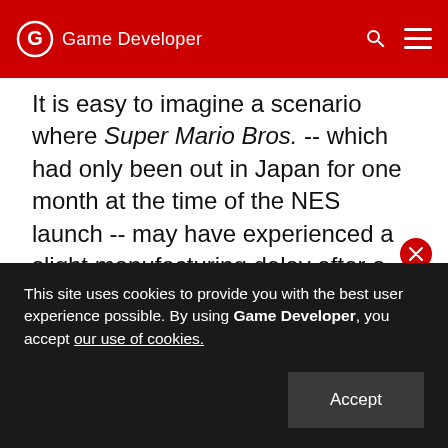Game Developer
It is easy to imagine a scenario where Super Mario Bros. -- which had only been out in Japan for one month at the time of the NES launch -- may have experienced a slight manufacturing delay after a planned launch with the system. Then again, that's all conjecture.
So it looks like we're back at square one. We still don't know the release date for one of video games' greatest literary works, and rather than finding out when that might be from the very same company that published it, we're relying on deep research
This site uses cookies to provide you with the best user experience possible. By using Game Developer, you accept our use of cookies.